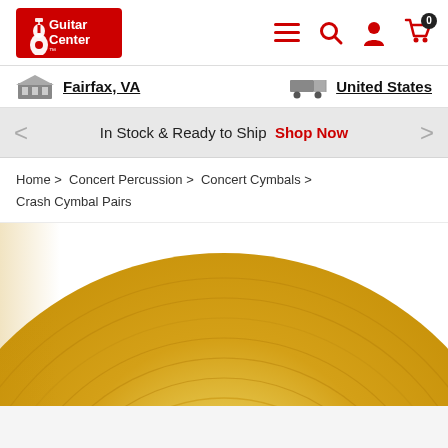[Figure (logo): Guitar Center logo — red rectangle with white guitar silhouette and 'Guitar Center' text]
[Figure (infographic): Navigation icons: hamburger menu, search magnifier, user silhouette, shopping cart with 0 badge — all in red]
Fairfax, VA
United States
In Stock & Ready to Ship  Shop Now
Home > Concert Percussion > Concert Cymbals > Crash Cymbal Pairs
[Figure (photo): Gold/brass cymbal face with 'A Symphonic French' text and circular ridged pattern, partially cropped from below]